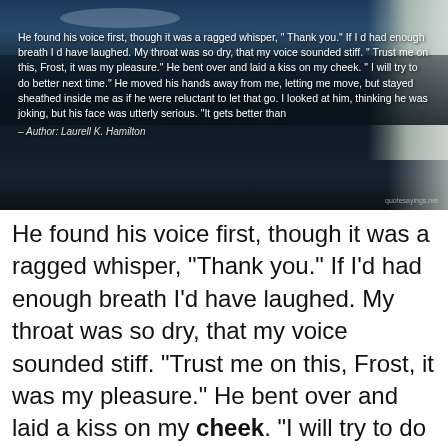[Figure (photo): A dark nighttime or twilight landscape photo showing a body of water with trees/snowy foliage on the right side and a dark sky with clouds. A quote from Laurell K. Hamilton is overlaid in white text.]
He found his voice first, though it was a ragged whisper, "Thank you." If I'd had enough breath I'd have laughed. My throat was so dry, that my voice sounded stiff. "Trust me on this, Frost, it was my pleasure." He bent over and laid a kiss on my cheek. "I will try to do better next time." He moved his hands away from me, letting me move, but stayed sheathed inside me as if he were reluctant to let that go. I looked at him,